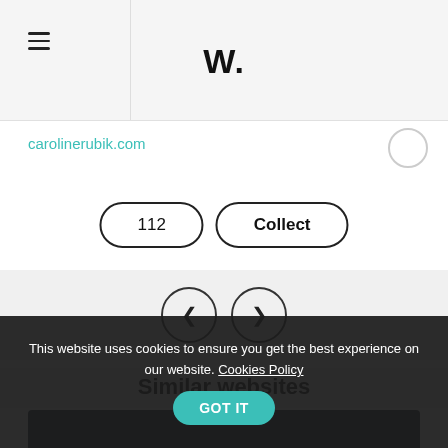W.
carolinerubik.com
112
Collect
[Figure (other): Navigation arrow buttons (left and right chevrons in circles)]
Similar websites
[Figure (screenshot): Preview thumbnail of a website with dark background]
This website uses cookies to ensure you get the best experience on our website. Cookies Policy GOT IT